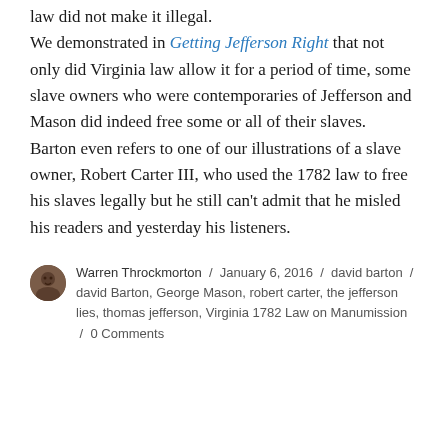law did not make it illegal. We demonstrated in Getting Jefferson Right that not only did Virginia law allow it for a period of time, some slave owners who were contemporaries of Jefferson and Mason did indeed free some or all of their slaves.  Barton even refers to one of our illustrations of a slave owner, Robert Carter III, who used the 1782 law to free his slaves legally but he still can't admit that he misled his readers and yesterday his listeners.
Warren Throckmorton / January 6, 2016 / david barton / david Barton, George Mason, robert carter, the jefferson lies, thomas jefferson, Virginia 1782 Law on Manumission / 0 Comments